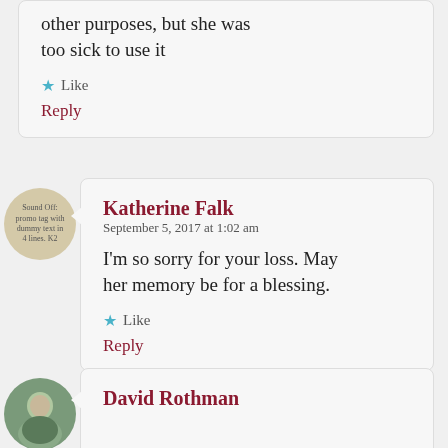other purposes, but she was too sick to use it
Like
Reply
[Figure (other): Circular avatar with placeholder text: Sound Off: promo tag with dummy text in 4 lines. K2]
Katherine Falk
September 5, 2017 at 1:02 am
I'm so sorry for your loss. May her memory be for a blessing.
Like
Reply
[Figure (photo): Circular avatar photo of a man outdoors]
David Rothman